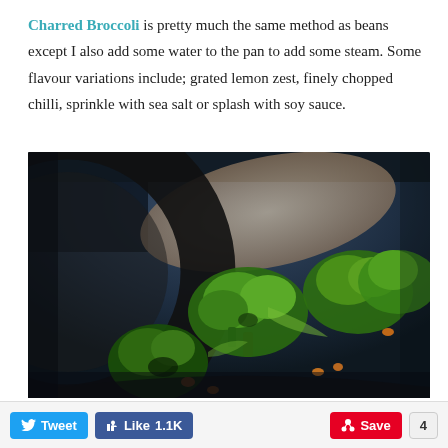Charred Broccoli is pretty much the same method as beans except I also add some water to the pan to add some steam. Some flavour variations include; grated lemon zest, finely chopped chilli, sprinkle with sea salt or splash with soy sauce.
[Figure (photo): Close-up photo of charred broccoli florets with nuts/seeds in a dark cast iron skillet, placed on a blue-grey background with a linen cloth/napkin]
Tweet  Like 1.1K  Save  4